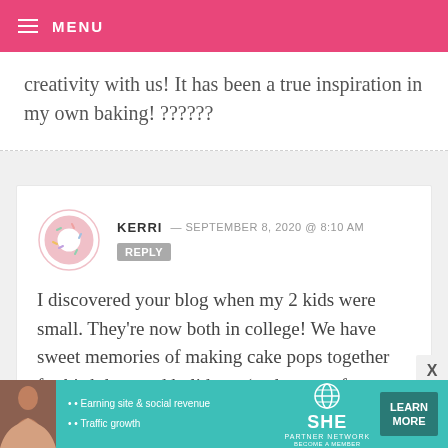MENU
creativity with us! It has been a true inspiration in my own baking! ??????
KERRI — SEPTEMBER 8, 2020 @ 8:10 AM REPLY
I discovered your blog when my 2 kids were small. They're now both in college! We have sweet memories of making cake pops together for birthdays and holidays  (and many of your other unbelievably creative
[Figure (infographic): SHE Partner Network advertisement banner with photo of woman, bullet points about earning site & social revenue and traffic growth, SHE logo, and Learn More button]